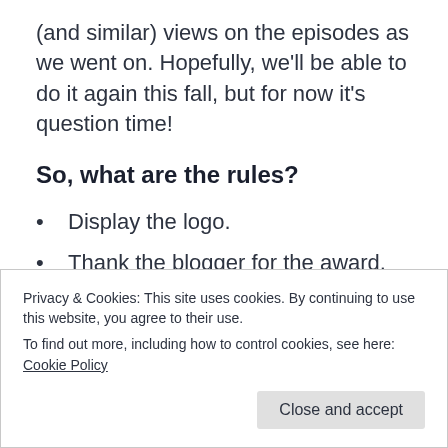(and similar) views on the episodes as we went on. Hopefully, we'll be able to do it again this fall, but for now it's question time!
So, what are the rules?
Display the logo.
Thank the blogger for the award.
Answer the questions from the one who nominated you.
Privacy & Cookies: This site uses cookies. By continuing to use this website, you agree to their use.
To find out more, including how to control cookies, see here: Cookie Policy